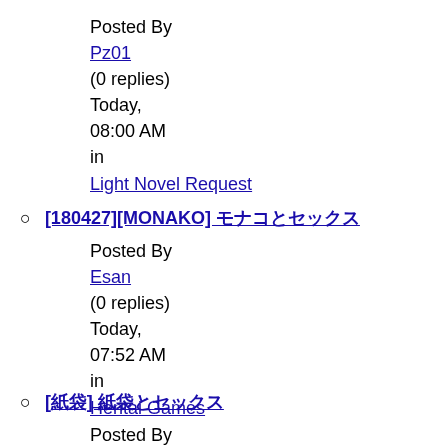Posted By
Pz01
(0 replies)
Today,
08:00 AM
in
Light Novel Request
[180427][MONAKO] モナコとセックス
Posted By
Esan
(0 replies)
Today,
07:52 AM
in
Hentai Games
[紙袋] 紙袋とセックス
Posted By
ramori
(0 replies)